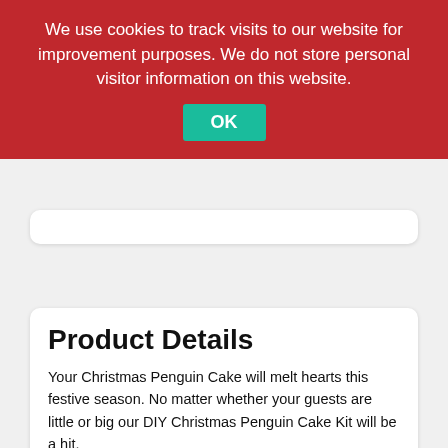We use cookies to track visits to our website for improvement purposes. We do not store personal visitor information on this website. OK
Allergies? Read here First!
Product Details
Your Christmas Penguin Cake will melt hearts this festive season. No matter whether your guests are little or big our DIY Christmas Penguin Cake Kit will be a hit.
And you will be amazed at our easy our DIY Christmas cake kits are. Not everyone has cake decorating supplies at home and it can be so expensive buying all the bits and pieces. So, we send you exactly what you need direct to your door including the box to bake it in. That's one less thing you can tick off your Christmas list. You